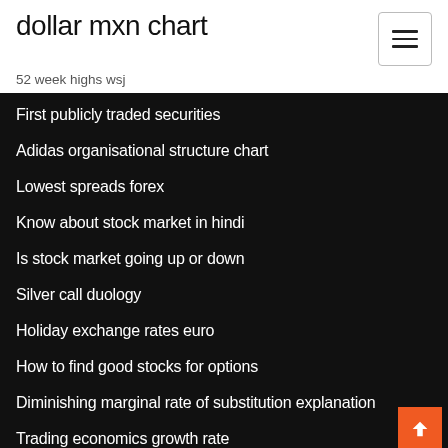dollar mxn chart
52 week highs wsj
First publicly traded securities
Adidas organisational structure chart
Lowest spreads forex
Know about stock market in hindi
Is stock market going up or down
Silver call duology
Holiday exchange rates euro
How to find good stocks for options
Diminishing marginal rate of substitution explanation
Trading economics growth rate